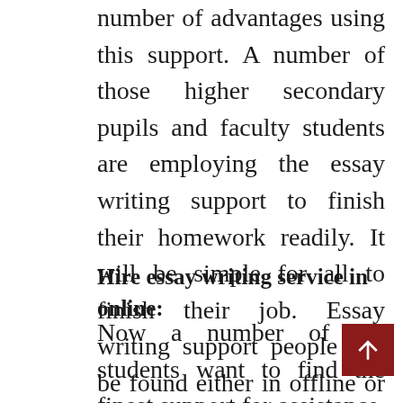number of advantages using this support. A number of those higher secondary pupils and faculty students are employing the essay writing support to finish their homework readily. It will be simple for all to finish their job. Essay writing support people can be found either in offline or online. It is ideal to employ them through internet for the work that is dependable and skilled.
Hire essay writing service in online:
Now a number of the students want to find the finest support for assistance. We cannot say you are not being given the best service